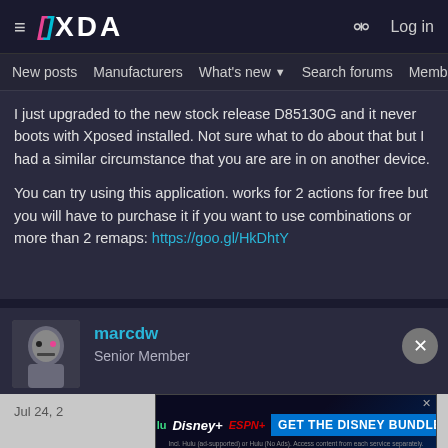XDA | Log in | New posts | Manufacturers | What's new | Search forums | Members
I just upgraded to the new stock release D85130G and it never boots with Xposed installed. Not sure what to do about that but I had a similar circumstance that you are are in on another device.

You can try using this application. works for 2 actions for free but you will have to purchase it if you want to use combinations or more than 2 remaps: https://goo.gl/HkDhtY
marcdw
Senior Member
[Figure (screenshot): Advertisement banner: GET THE DISNEY BUNDLE featuring Hulu, Disney+, and ESPN+ logos]
That button remapper app, and others, work on hardware/capacitive